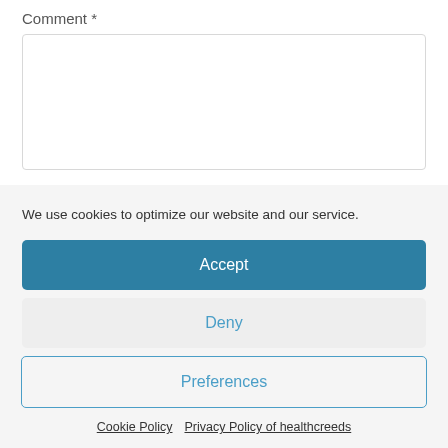Comment *
[Figure (screenshot): Empty comment text area input box with light border]
We use cookies to optimize our website and our service.
Accept
Deny
Preferences
Cookie Policy   Privacy Policy of healthcreeds